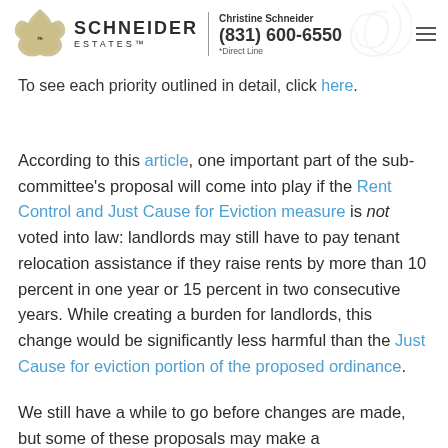SCHNEIDER ESTATES™ | Christine Schneider (831) 600-6550 *Direct Line
To see each priority outlined in detail, click here.
According to this article, one important part of the sub-committee's proposal will come into play if the Rent Control and Just Cause for Eviction measure is not voted into law: landlords may still have to pay tenant relocation assistance if they raise rents by more than 10 percent in one year or 15 percent in two consecutive years. While creating a burden for landlords, this change would be significantly less harmful than the Just Cause for eviction portion of the proposed ordinance.
We still have a while to go before changes are made, but some of these proposals may make a